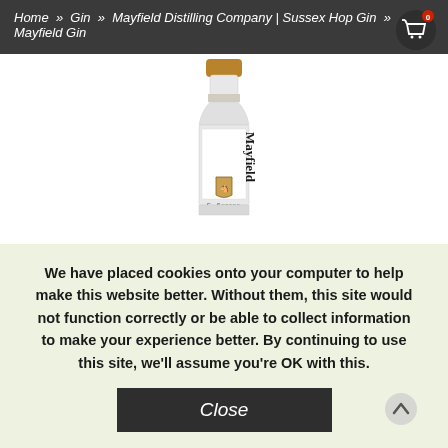Home » Gin » Mayfield Distilling Company | Sussex Hop Gin » Mayfield Gin
[Figure (photo): Mayfield Gin bottle, clear glass with white label showing 'Mayfield' text vertically, a crest/shield logo, and cork top]
We have placed cookies onto your computer to help make this website better. Without them, this site would not function correctly or be able to collect information to make your experience better. By continuing to use this site, we'll assume you're OK with this.
Close